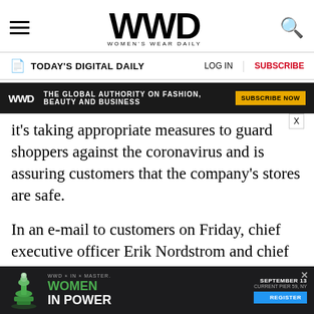WWD WOMEN'S WEAR DAILY
TODAY'S DIGITAL DAILY  LOG IN  |  SUBSCRIBE
[Figure (screenshot): WWD ad banner: dark background with WWD logo, text 'THE GLOBAL AUTHORITY ON FASHION, BEAUTY AND BUSINESS' and 'SUBSCRIBE NOW' button]
it's taking appropriate measures to guard shoppers against the coronavirus and is assuring customers that the company's stores are safe.

In an e-mail to customers on Friday, chief executive officer Erik Nordstrom and chief brand officer Pete Nordstrom, wrote: “Our stores are cleaned and sanitized daily as part of our normal course of business. Over the past few weeks, we’ve increased the frequency and extent of those
[Figure (screenshot): Bottom advertisement: dark background with chess queen piece (green), 'WOMEN IN POWER' text, 'SEPTEMBER 13 CURRENT PIER 59, NY', and 'REGISTER' blue button]